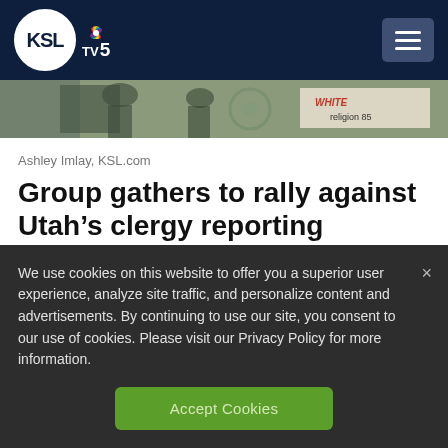KSL TV 5
[Figure (photo): Partial view of people at a rally holding signs, cropped photo strip]
Ashley Imlay, KSL.com
Group gathers to rally against Utah's clergy reporting exemption
We use cookies on this website to offer you a superior user experience, analyze site traffic, and personalize content and advertisements. By continuing to use our site, you consent to our use of cookies. Please visit our Privacy Policy for more information.
Accept Cookies